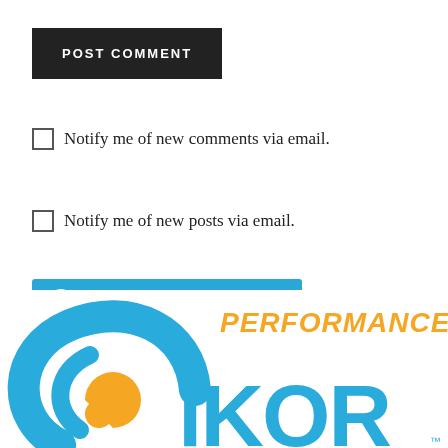POST COMMENT
Notify me of new comments via email.
Notify me of new posts via email.
Follow KENNETT PETERSON
Search …
[Figure (logo): iKOR Performance CBD logo with blue swirl icon and orange/blue text]